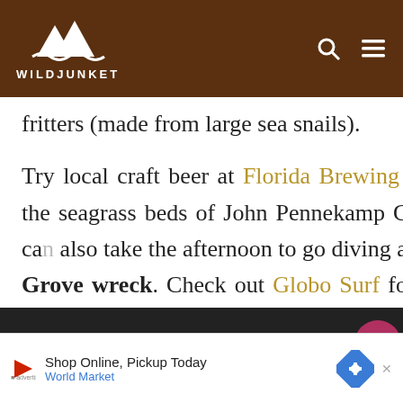WILDJUNKET
fritters (made from large sea snails).
Try local craft beer at Florida Brewing Company or go kayaking in the seagrass beds of John Pennekamp Coral Reef State Park. Divers can also take the afternoon to go diving at the Spiegel Grove wreck. Check out Globo Surf for the best snorkeling and dive sites in Florida. Scuba divers should check out Jules Undersea Lodge,